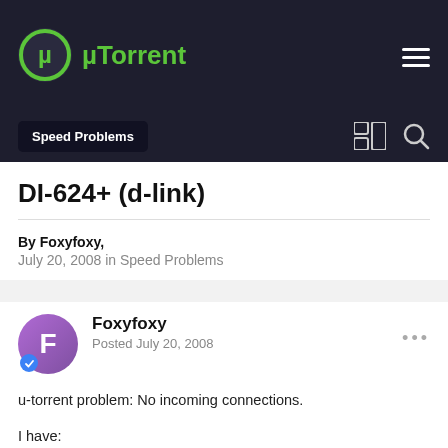µTorrent
Speed Problems
DI-624+ (d-link)
By Foxyfoxy,
July 20, 2008 in Speed Problems
Foxyfoxy
Posted July 20, 2008
u-torrent problem: No incoming connections.

I have:

Portfowarded utorrent in the router, I have allowed utorrent in my firewall. I have searched for 4-5 hours and found that this seems to be a common problem that utorrent with d-link routers has.